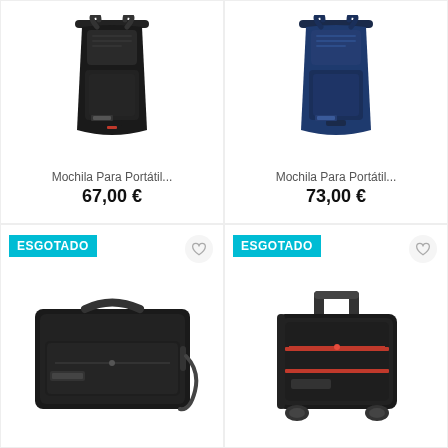[Figure (photo): Black laptop backpack product photo]
Mochila Para Portátil...
67,00 €
[Figure (photo): Navy blue laptop backpack product photo]
Mochila Para Portátil...
73,00 €
[Figure (photo): Black laptop bag/briefcase product photo, labeled ESGOTADO (sold out)]
[Figure (photo): Black rolling luggage/trolley bag product photo, labeled ESGOTADO (sold out)]